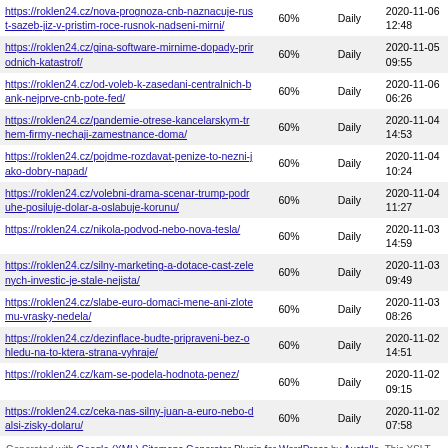| URL | Priority | Change Frequency | LastMod |
| --- | --- | --- | --- |
| https://roklen24.cz/nova-prognoza-cnb-naznacuje-rust-sazeb-jiz-v-pristim-roce-rusnok-nadseni-mirni/ | 60% | Daily | 2020-11-06 12:48 |
| https://roklen24.cz/gina-software-mirnime-dopady-prirodnich-katastrof/ | 60% | Daily | 2020-11-05 09:55 |
| https://roklen24.cz/od-voleb-k-zasedani-centralnich-bank-nejprve-cnb-pote-fed/ | 60% | Daily | 2020-11-06 06:26 |
| https://roklen24.cz/pandemie-otrese-kancelarskym-trhem-firmy-nechaji-zamestnance-doma/ | 60% | Daily | 2020-11-04 14:53 |
| https://roklen24.cz/pojdme-rozdavat-penize-to-nezni-jako-dobry-napad/ | 60% | Daily | 2020-11-04 10:24 |
| https://roklen24.cz/volebni-drama-scenar-trump-podruhe-posiluje-dolar-a-oslabuje-korunu/ | 60% | Daily | 2020-11-04 11:27 |
| https://roklen24.cz/nikola-podvod-nebo-nova-tesla/ | 60% | Daily | 2020-11-03 14:59 |
| https://roklen24.cz/silny-marketing-a-dotace-cast-zelenych-investic-je-stale-nejista/ | 60% | Daily | 2020-11-03 09:49 |
| https://roklen24.cz/slabe-euro-domaci-mene-ani-zlotemu-vrasky-nedela/ | 60% | Daily | 2020-11-03 08:26 |
| https://roklen24.cz/dezinflace-budte-pripraveni-bez-ohledu-na-to-ktera-strana-vyhraje/ | 60% | Daily | 2020-11-02 14:51 |
| https://roklen24.cz/kam-se-podela-hodnota-penez/ | 60% | Daily | 2020-11-02 09:15 |
| https://roklen24.cz/ceka-nas-silny-juan-a-euro-nebo-dalsi-zisky-dolaru/ | 60% | Daily | 2020-11-02 07:58 |
Generated with Google (XML) Sitemaps Generator Plugin for WordPress by Auctollo. This XSLT template is released under the GPL and free to use.
If you have problems with your sitemap please visit the support forum.